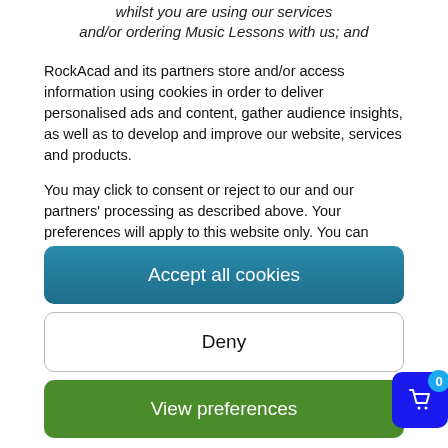whilst you are using our services and/or ordering Music Lessons with us; and
RockAcad and its partners store and/or access information using cookies in order to deliver personalised ads and content, gather audience insights, as well as to develop and improve our website, services and products.
You may click to consent or reject to our and our partners' processing as described above. Your preferences will apply to this website only. You can change your preferences at any time by returning to this website.
Please note that some processing of your personal data using
Accept all cookies
Deny
View preferences